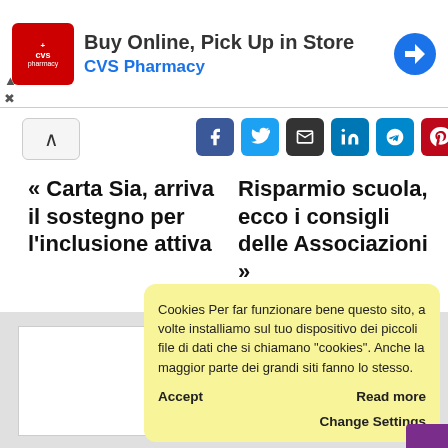[Figure (screenshot): CVS Pharmacy advertisement banner with logo, text 'Buy Online, Pick Up In Store' and 'CVS Pharmacy', and navigation arrow icon]
[Figure (infographic): Social sharing icons row: Facebook, Twitter, Email, LinkedIn, Telegram, Pinterest]
« Carta Sia, arriva il sostegno per l'inclusione attiva
Risparmio scuola, ecco i consigli delle Associazioni »
Cookies Per far funzionare bene questo sito, a volte installiamo sul tuo dispositivo dei piccoli file di dati che si chiamano "cookies". Anche la maggior parte dei grandi siti fanno lo stesso.

Accept    Read more

Change Settings